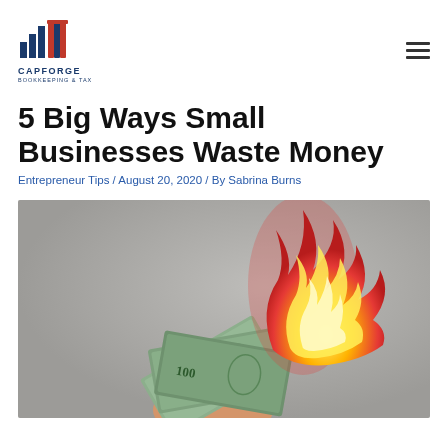[Figure (logo): CapForge Bookkeeping & Tax logo with blue bar chart and book icon]
5 Big Ways Small Businesses Waste Money
Entrepreneur Tips / August 20, 2020 / By Sabrina Burns
[Figure (photo): A hand holding a fan of US $100 dollar bills that are on fire, against a gray background]